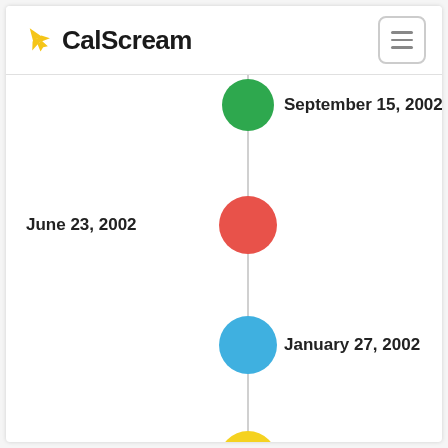CalScream
[Figure (infographic): Vertical timeline with four colored circle markers and alternating left/right date labels. September 15, 2002 (green dot, right label), June 23, 2002 (red dot, left label), January 27, 2002 (blue dot, right label), October 28, 2001 (yellow dot, left label).]